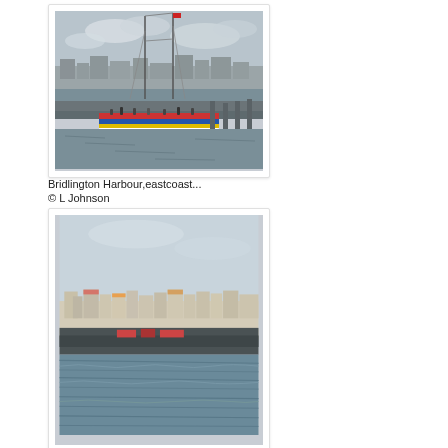[Figure (photo): Photograph of Bridlington Harbour showing a sailing vessel with masts in the foreground, a harbour wall, and town buildings in the background under a cloudy sky.]
Bridlington Harbour,eastcoast...
© L Johnson
[Figure (photo): Photograph of a coastal town view from the sea, showing a harbour wall/pier in the foreground and colourful seafront buildings behind it, with calm blue-grey sea water.]